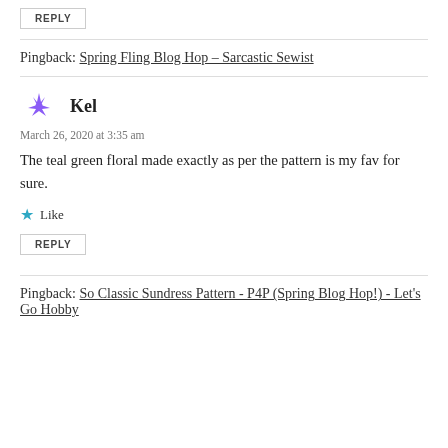REPLY
Pingback: Spring Fling Blog Hop – Sarcastic Sewist
Kel
March 26, 2020 at 3:35 am
The teal green floral made exactly as per the pattern is my fav for sure.
Like
REPLY
Pingback: So Classic Sundress Pattern - P4P (Spring Blog Hop!) - Let's Go Hobby